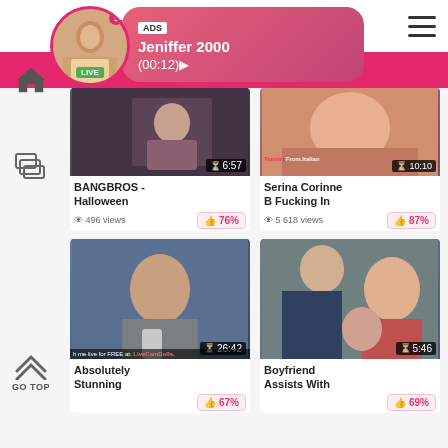bbwy [website name]
[Figure (screenshot): ADS popup notification with avatar photo of a woman, LIVE badge, username Jeniffer 2000, and time (00:12)]
[Figure (photo): Video thumbnail - BANGBROS Halloween, duration 6:57]
BANGBROS - Halloween
496 views
76%
[Figure (photo): Video thumbnail - Serina Corinne B Fucking In, duration 10:10]
Serina Corinne B Fucking In
5 618 views
87%
[Figure (photo): Video thumbnail - Absolutely Stunning, duration 26:42, with LiveCamDolls watermark]
Absolutely Stunning
67%
[Figure (photo): Video thumbnail - Boyfriend Assists With, duration 5:46]
Boyfriend Assists With
69%